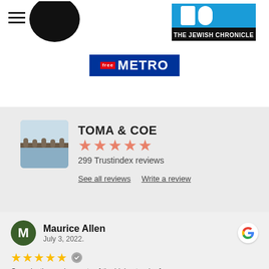[Figure (logo): Black circle logo at top left]
[Figure (logo): The Jewish Chronicle logo - blue and white rectangular logo with text THE JEWISH CHRONICLE]
[Figure (logo): Metro newspaper logo - dark blue rectangle with FREE tag and METRO in white text]
[Figure (photo): Toma & Coe company photo showing a bridge over water at dusk]
TOMA & COE
★★★★★
299 Trustindex reviews
See all reviews   Write a review
Maurice Allen
July 3, 2022.
★★★★★